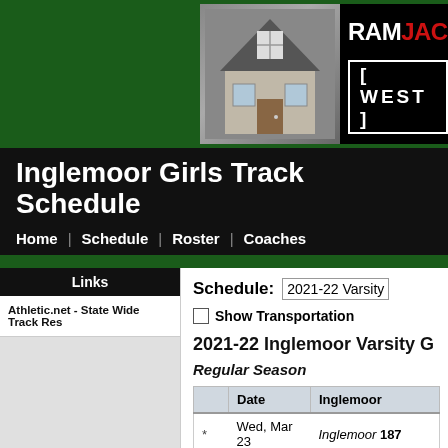[Figure (photo): RamJack West advertisement banner showing a house photo and the RamJack West logo in red and white text on black background]
Inglemoor Girls Track Schedule
Home | Schedule | Roster | Coaches
Links
Athletic.net - State Wide Track Res
Schedule: 2021-22 Varsity
Show Transportation
2021-22 Inglemoor Varsity G
Regular Season
|  | Date | Inglemoor |
| --- | --- | --- |
| * | Wed, Mar 23 | Inglemoor 187 |
|  | Fri, Mar 25 | Bellingham School Di |
| * | Tue, Mar 29 | Inglemoor |